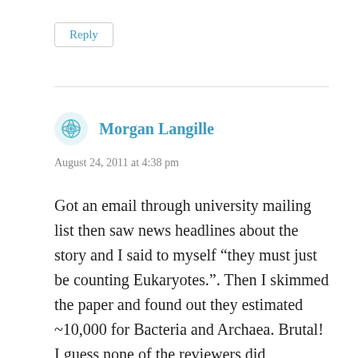Reply
Morgan Langille
August 24, 2011 at 4:38 pm
Got an email through university mailing list then saw news headlines about the story and I said to myself “they must just be counting Eukaryotes.”. Then I skimmed the paper and found out they estimated ~10,000 for Bacteria and Archaea. Brutal! I guess none of the reviewers did reasearch on Bacteria and Archaea, since there is no way they would let them publish this. Would have been fine if they